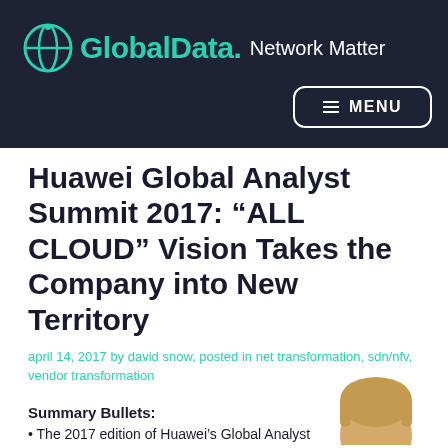GlobalData. Network Matter
Huawei Global Analyst Summit 2017: “ALL CLOUD” Vision Takes the Company into New Territory
april 14, 2017 by david snow, posted in net transformation, sdn/nfv, vendor transformation
Summary Bullets:
• The 2017 edition of Huawei’s Global Analyst
[Figure (photo): Headshot photo of a person with blond/light hair, visible at bottom right of the page]